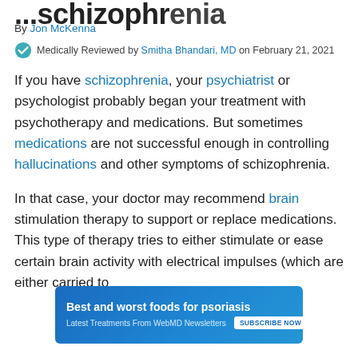...schizophrenia (partial, cut off at top)
By Jon McKenna
Medically Reviewed by Smitha Bhandari, MD on February 21, 2021
If you have schizophrenia, your psychiatrist or psychologist probably began your treatment with psychotherapy and medications. But sometimes medications are not successful enough in controlling hallucinations and other symptoms of schizophrenia.
In that case, your doctor may recommend brain stimulation therapy to support or replace medications. This type of therapy tries to either stimulate or ease certain brain activity with electrical impulses (which are either carried to
[Figure (infographic): Advertisement banner: 'Best and worst foods for psoriasis' - Latest Treatments From WebMD Newsletters - SUBSCRIBE NOW button on blue gradient background]